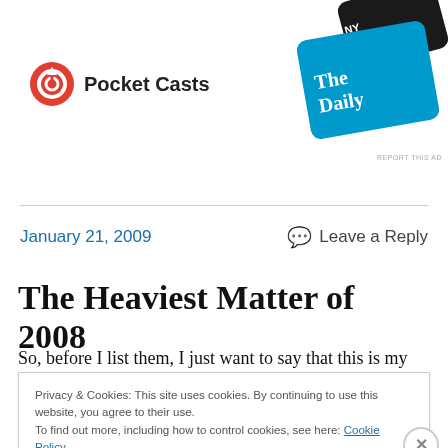[Figure (logo): Pocket Casts logo with circular red icon and text 'Pocket Casts']
[Figure (photo): Advertisement showing 'The Daily' podcast card on blue gradient background and a dark card partially visible]
January 21, 2009
Leave a Reply
The Heaviest Matter of 2008
So, before I list them, I just want to say that this is my personal list of what I liked them most in 2008 for metal. Sure, there will be things on here that you think shouldn't
Privacy & Cookies: This site uses cookies. By continuing to use this website, you agree to their use.
To find out more, including how to control cookies, see here: Cookie Policy
Close and accept